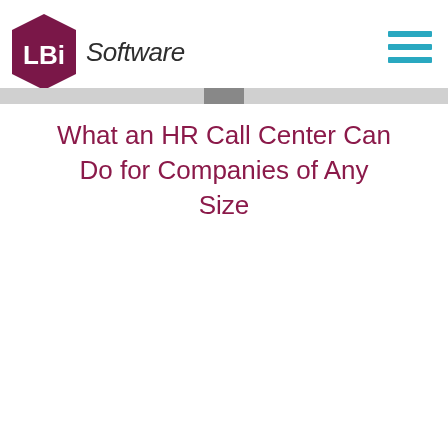LBi Software
What an HR Call Center Can Do for Companies of Any Size